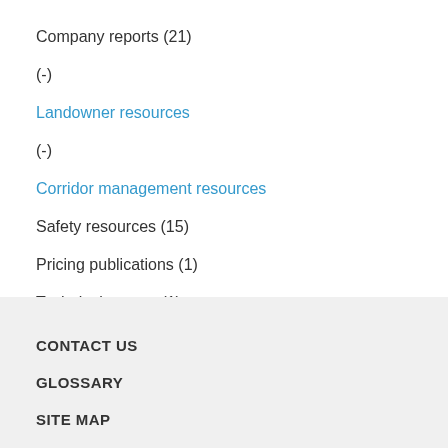Company reports (21)
(-)
Landowner resources
(-)
Corridor management resources
Safety resources (15)
Pricing publications (1)
Technical reports (1)
CONTACT US
GLOSSARY
SITE MAP